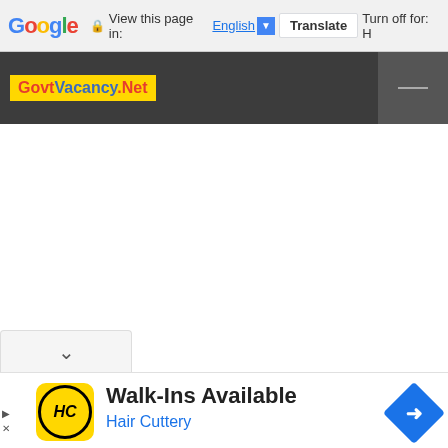Google  View this page in: English [▼]  Translate  Turn off for: H
[Figure (screenshot): Dark navigation bar with GovtVacancy.Net logo on yellow background and menu button on right]
[Figure (screenshot): White blank main content area]
[Figure (screenshot): Chevron/collapse tab with down arrow]
[Figure (screenshot): Advertisement for Hair Cuttery - Walk-Ins Available, with HC logo and navigation diamond icon]